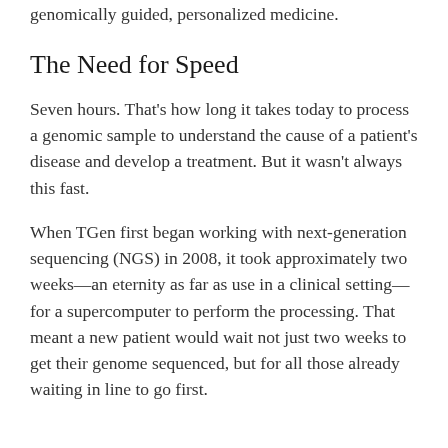genomically guided, personalized medicine.
The Need for Speed
Seven hours. That's how long it takes today to process a genomic sample to understand the cause of a patient's disease and develop a treatment. But it wasn't always this fast.
When TGen first began working with next-generation sequencing (NGS) in 2008, it took approximately two weeks—an eternity as far as use in a clinical setting—for a supercomputer to perform the processing. That meant a new patient would wait not just two weeks to get their genome sequenced, but for all those already waiting in line to go first.